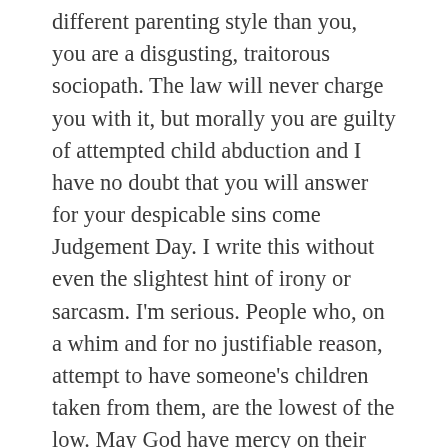different parenting style than you, you are a disgusting, traitorous sociopath. The law will never charge you with it, but morally you are guilty of attempted child abduction and I have no doubt that you will answer for your despicable sins come Judgement Day. I write this without even the slightest hint of irony or sarcasm. I'm serious. People who, on a whim and for no justifiable reason, attempt to have someone's children taken from them, are the lowest of the low. May God have mercy on their souls for they are filled with unspeakable darkness. Amen.